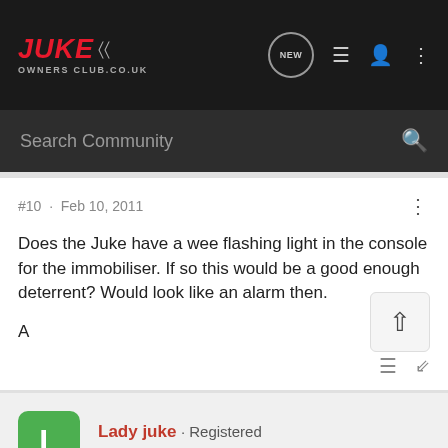JUKE Owners Club.co.uk — navigation bar with search
#10 · Feb 10, 2011
Does the Juke have a wee flashing light in the console for the immobiliser. If so this would be a good enough deterrent? Would look like an alarm then.

A
Lady juke · Registered
Joined Jan 11, 2011 · 2,119 Posts
#11 · Feb 10, 2011